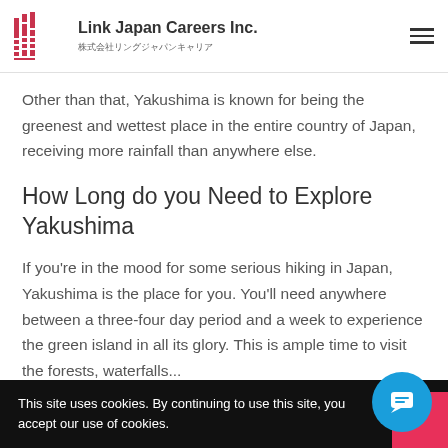Link Japan Careers Inc. 株式会社リングジャパンキャリア
Other than that, Yakushima is known for being the greenest and wettest place in the entire country of Japan, receiving more rainfall than anywhere else.
How Long do you Need to Explore Yakushima
If you're in the mood for some serious hiking in Japan, Yakushima is the place for you. You'll need anywhere between a three-four day period and a week to experience the green island in all its glory. This is ample time to visit the forests, waterfalls...
This site uses cookies. By continuing to use this site, you accept our use of cookies.